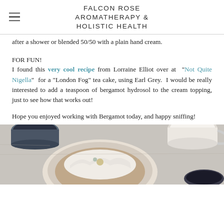FALCON ROSE AROMATHERAPY & HOLISTIC HEALTH
after a shower or blended 50/50 with a plain hand cream.
FOR FUN!
I found this very cool recipe from Lorraine Elliot over at "Not Quite Nigella" for a "London Fog" tea cake, using Earl Grey. I would be really interested to add a teaspoon of bergamot hydrosol to the cream topping, just to see how that works out!
Hope you enjoyed working with Bergamot today, and happy sniffing!
[Figure (photo): Photo of a cake or dessert with cream topping served in a bowl, with cups of tea or coffee visible in the background, on a light wooden surface.]